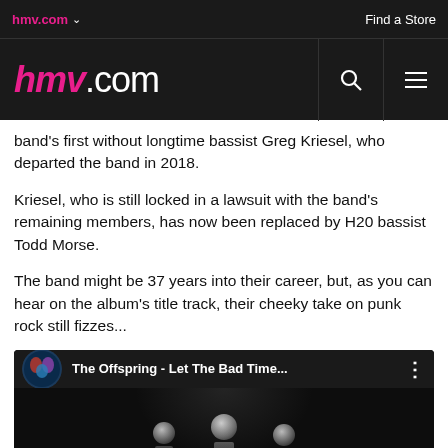hmv.com | Find a Store
hmv.com (main nav with search and menu icons)
band's first without longtime bassist Greg Kriesel, who departed the band in 2018.
Kriesel, who is still locked in a lawsuit with the band's remaining members, has now been replaced by H20 bassist Todd Morse.
The band might be 37 years into their career, but, as you can hear on the album's title track, their cheeky take on punk rock still fizzes...
[Figure (screenshot): YouTube video embed showing 'The Offspring - Let The Bad Time...' with thumbnail of band logo and silhouette figures on dark background]